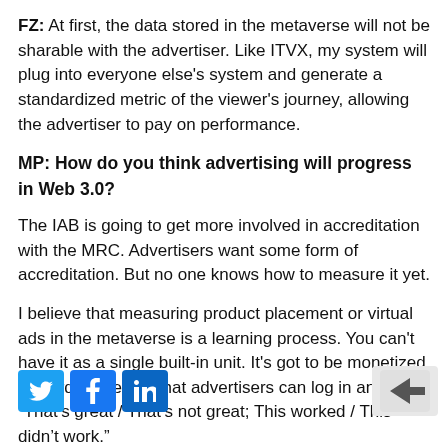FZ: At first, the data stored in the metaverse will not be sharable with the advertiser. Like ITVX, my system will plug into everyone else's system and generate a standardized metric of the viewer's journey, allowing the advertiser to pay on performance.
MP: How do you think advertising will progress in Web 3.0?
The IAB is going to get more involved in accreditation with the MRC. Advertisers want some form of accreditation. But no one knows how to measure it yet.
I believe that measuring product placement or virtual ads in the metaverse is a learning process. You can't have it as a single built-in unit. It's got to be monetized by third-parties so that advertisers can log in and say “That's great / That's not great; This worked / This didn't work.”
As we continue onward, we need to start slow; we can't [faded: g because we don't know what to [faded] place. We're years away from anything...